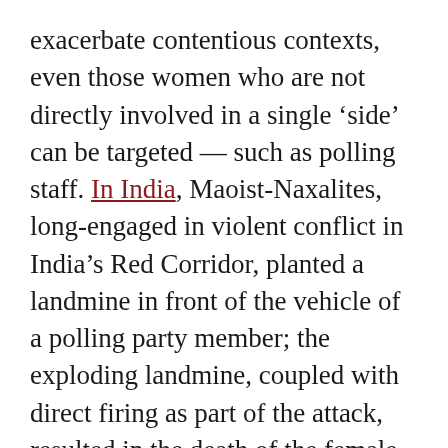exacerbate contentious contexts, even those women who are not directly involved in a single 'side' can be targeted — such as polling staff. In India, Maoist-Naxalites, long-engaged in violent conflict in India's Red Corridor, planted a landmine in front of the vehicle of a polling party member; the exploding landmine, coupled with direct firing as part of the attack, resulted in the death of the female poll official.
Women holding other government-related positions are also caught in the crosshairs. In Afghanistan, Front Line Defenders reported